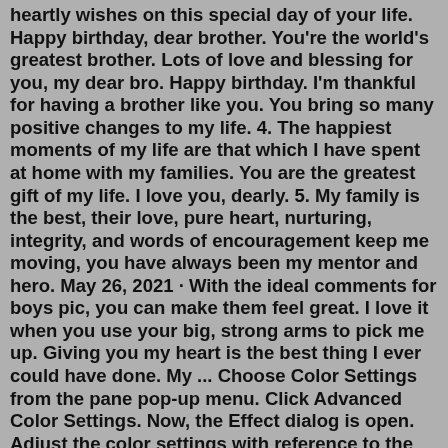heartly wishes on this special day of your life. Happy birthday, dear brother. You're the world's greatest brother. Lots of love and blessing for you, my dear bro. Happy birthday. I'm thankful for having a brother like you. You bring so many positive changes to my life. 4. The happiest moments of my life are that which I have spent at home with my families. You are the greatest gift of my life. I love you, dearly. 5. My family is the best, their love, pure heart, nurturing, integrity, and words of encouragement keep me moving, you have always been my mentor and hero. May 26, 2021 · With the ideal comments for boys pic, you can make them feel great. I love it when you use your big, strong arms to pick me up. Giving you my heart is the best thing I ever could have done. My ... Choose Color Settings from the pane pop-up menu. Click Advanced Color Settings. Now, the Effect dialog is open. Adjust the color settings with reference to the following table and the check result in STEP 1, and click OK. Colors the machine can print and colors you see on a monitor are different. Mar 21, 2022 · 10